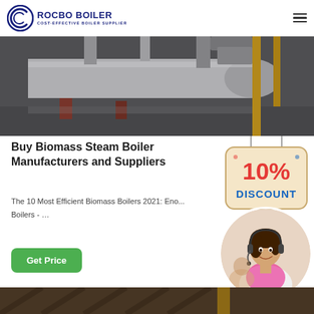[Figure (logo): Rocbo Boiler logo with circular icon and text 'ROCBO BOILER – COST-EFFECTIVE BOILER SUPPLIER']
[Figure (photo): Industrial biomass boiler facility interior with large pipes and yellow structural elements]
Buy Biomass Steam Boiler Manufacturers and Suppliers
The 10 Most Efficient Biomass Boilers 2021: Eno... Boilers - …
[Figure (illustration): 10% DISCOUNT badge/sign hanging]
[Figure (photo): Customer service agent (woman with headset) in circular crop]
[Figure (photo): Industrial facility interior bottom strip]
Get Price